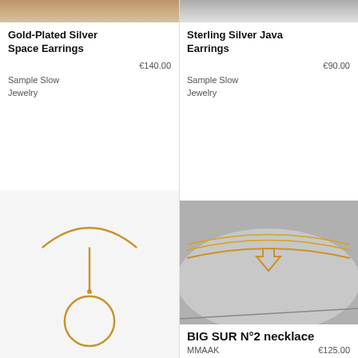[Figure (photo): Top portion of product photo for Gold-Plated Silver Space Earrings]
Gold-Plated Silver Space Earrings
€140.00
Sample Slow
Jewelry
[Figure (photo): Top portion of product photo for Sterling Silver Java Earrings]
Sterling Silver Java Earrings
€90.00
Sample Slow
Jewelry
[Figure (photo): Gold wire choker necklace with circular pendant on white background]
[Figure (photo): BIG SUR N°2 necklace - gold chain with triangular pendant on grey mirror surface]
BIG SUR N°2 necklace
MMAAK
€125.00